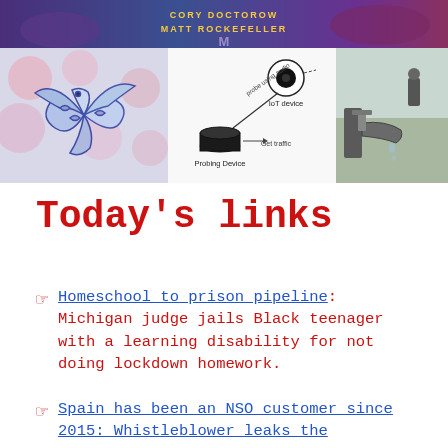[Figure (illustration): Top banner image: Cory Doctorow Matt Rockefeller book cover with stylized text and fantasy characters on purple/blue background]
[Figure (illustration): Left: Blue and white dragon/griffin illustration on floral background]
[Figure (schematic): Center: IoT device probing diagram showing IoT device connected via 'probe using audio' to Probing Device via 'Get traffic' arrow]
[Figure (photo): Right: Photo of man standing behind large outdoor water faucet/tap]
Today's links
Homeschool to prison pipeline: Michigan judge jails Black teenager with a learning disability for not doing lockdown homework.
Spain has been an NSO customer since 2015: Whistleblower leaks the